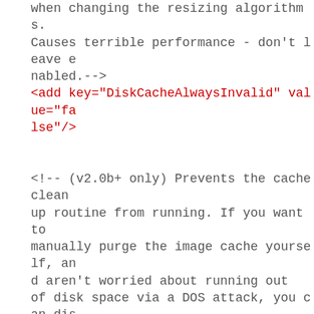when changing the resizing algorithms. Causes terrible performance - don't leave enabled.-->
<add key="DiskCacheAlwaysInvalid" value="false"/>

<!-- (v2.0b+ only) Prevents the cache cleanup routine from running. If you want to manually purge the image cache yourself, and aren't worried about running out of disk space via a DOS attack, you can disable this. Not advised. -->
<add key="DisableCacheCleanup" value="false"/>

<!-- (v2.1+ only) Disabling custom quantization allows the resizer to function in low trust environments where managed pointer access and data type marshaling is prohibited. However, PNGs and BMPs can only be output i